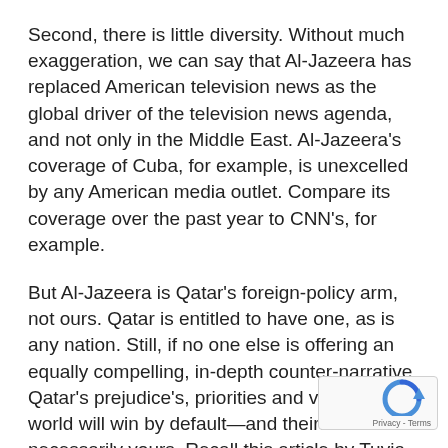Second, there is little diversity. Without much exaggeration, we can say that Al-Jazeera has replaced American television news as the global driver of the television news agenda, and not only in the Middle East. Al-Jazeera's coverage of Cuba, for example, is unexcelled by any American media outlet. Compare its coverage over the past year to CNN's, for example.
But Al-Jazeera is Qatar's foreign-policy arm, not ours. Qatar is entitled to have one, as is any nation. Still, if no one else is offering an equally compelling, in-depth counter-narrative, Qatar's prejudice's, priorities and view of the world will win by default—and theirs are not necessarily yours. Recall this article by Tuvia Tenenbom on the role played by Al-Jazeera in fomenting the Arab uprisings:
"Al-Jazeera understands the power of pictures. It was to watch how it used this power after Ben Ali fled Tunisia. Al-